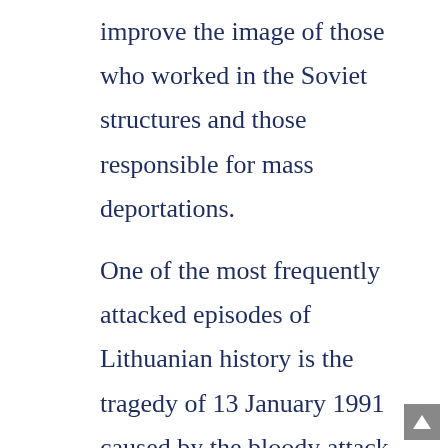improve the image of those who worked in the Soviet structures and those responsible for mass deportations.

One of the most frequently attacked episodes of Lithuanian history is the tragedy of 13 January 1991 caused by the bloody attack of the Soviet Army against the peaceful people of Lithuania, who defended the recently restored independence of the